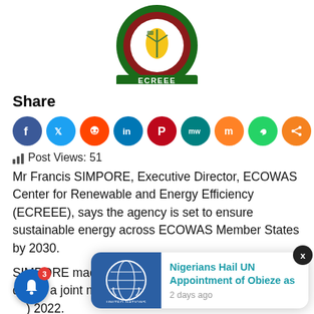[Figure (logo): ECREEE logo — circular emblem with green and red ring, wind turbine and solar panel graphics, yellow Africa map, text ECREEE at bottom]
Share
[Figure (infographic): Row of social media share icons: Facebook (blue), Twitter (light blue), Reddit (orange), LinkedIn (dark blue), Pinterest (red/dark), MeWe (teal), Mix (orange), WhatsApp (green), Share (orange)]
Post Views: 51
Mr Francis SIMPORE, Executive Director, ECOWAS Center for Renewable and Energy Efficiency (ECREEE), says the agency is set to ensure sustainable energy across ECOWAS Member States by 2030.
SIMPORE made this known on Wednesday in Abuja during a joint m... ahead o... ) 2022.
[Figure (screenshot): Notification popup: United Nations logo image on left, text 'Nigerians Hail UN Appointment of Obieze as' in teal, '2 days ago' below, X close button top-right]